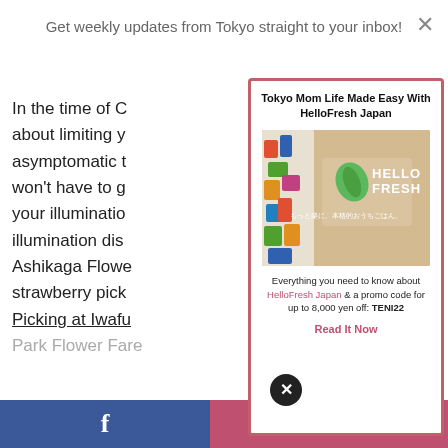Get weekly updates from Tokyo straight to your inbox!
In the time of Co... about limiting y... asymptomatic t... won't have to ge... your illumination... illumination disp... Ashikaga Flower... strawberry picki... Picking at Iwafu... Park Flower Fare...
Tokyo Mom Life Made Easy With HelloFresh Japan
[Figure (photo): HelloFresh Japan branded cardboard box with green leaf logo and Japanese text]
Everything you need to know about HelloFresh Japan & a promo code for up to 8,000 yen off: TENI22
Read It Now